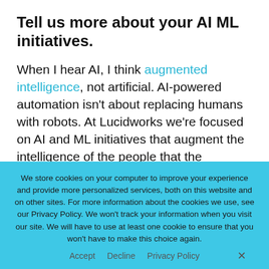Tell us more about your AI ML initiatives.
When I hear AI, I think augmented intelligence, not artificial. AI-powered automation isn't about replacing humans with robots. At Lucidworks we're focused on AI and ML initiatives that augment the intelligence of the people that the solutions serve so they can focus on doing the type of work that keeps them engaged and adds value to the
We store cookies on your computer to improve your experience and provide more personalized services, both on this website and on other sites. For more information about the cookies we use, see our Privacy Policy. We won't track your information when you visit our site. We will have to use at least one cookie to ensure that you won't have to make this choice again.
Accept   Decline   Privacy Policy